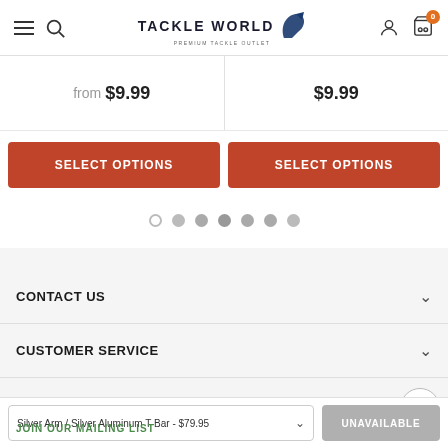Tackle World - Premium Tackle Outlet
from $9.99
$9.99
SELECT OPTIONS
SELECT OPTIONS
[Figure (other): Carousel pagination dots - 7 dots, first is outlined/inactive, rest are filled gray]
CONTACT US
CUSTOMER SERVICE
SHOP
Silver Arm / Silver Aluminum T-Bar - $79.95
UNAVAILABLE
JOIN OUR MAILING LIST